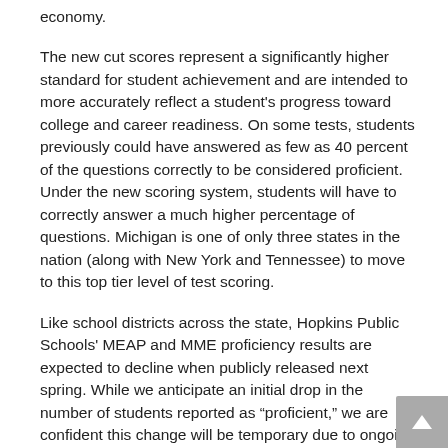economy.
The new cut scores represent a significantly higher standard for student achievement and are intended to more accurately reflect a student's progress toward college and career readiness. On some tests, students previously could have answered as few as 40 percent of the questions correctly to be considered proficient. Under the new scoring system, students will have to correctly answer a much higher percentage of questions. Michigan is one of only three states in the nation (along with New York and Tennessee) to move to this top tier level of test scoring.
Like school districts across the state, Hopkins Public Schools' MEAP and MME proficiency results are expected to decline when publicly released next spring. While we anticipate an initial drop in the number of students reported as “proficient,” we are confident this change will be temporary due to ongoing school improvement efforts and student support. If a student is reported as “not proficient,” it does not mean that he or she isn’t gaining academic skills or knowledge expected for his or her grade level.